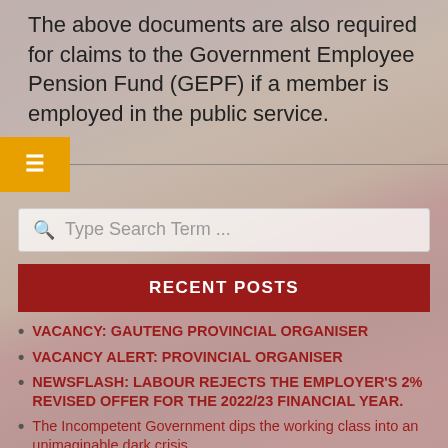The above documents are also required for claims to the Government Employee Pension Fund (GEPF) if a member is employed in the public service.
[Figure (screenshot): Hamburger menu icon on amber/orange background with a horizontal divider line]
[Figure (screenshot): Search bar with magnifying glass icon and placeholder text 'Type Search Term ...']
RECENT POSTS
VACANCY: GAUTENG PROVINCIAL ORGANISER
VACANCY ALERT: PROVINCIAL ORGANISER
NEWSFLASH: LABOUR REJECTS THE EMPLOYER'S 2% REVISED OFFER FOR THE 2022/23 FINANCIAL YEAR.
The Incompetent Government dips the working class into an unimaginable dark crisis